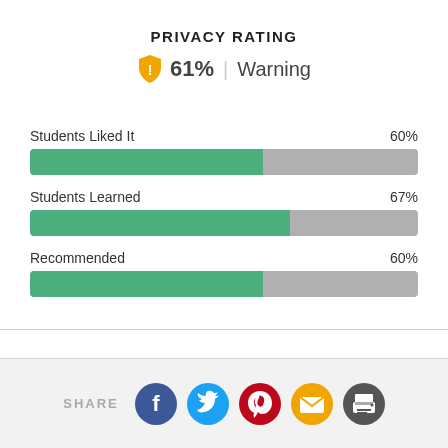PRIVACY RATING
61% | Warning
[Figure (bar-chart): Student Ratings]
SHARE